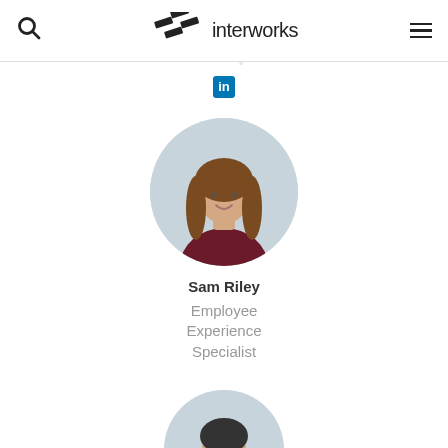interworks
[Figure (photo): LinkedIn icon/badge in teal/blue]
[Figure (photo): Circular profile photo of Sam Riley, a woman with long wavy auburn hair wearing a dark red/maroon top, smiling, against a light grey background]
Sam Riley
Employee Experience Specialist
[Figure (photo): Circular profile photo of a second person, partially visible at bottom of page, wearing glasses]